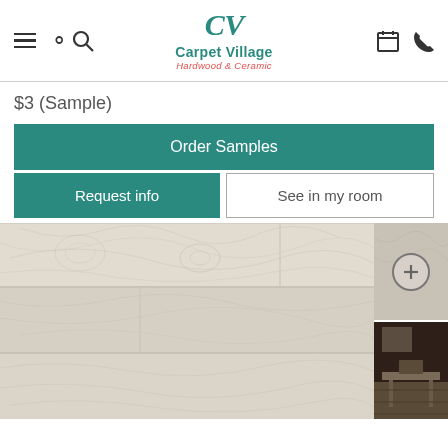Carpet Village Hardwood & Ceramic
$3 (Sample)
Order Samples
Request info
See in my room
[Figure (photo): Light-colored wood grain flooring product sample shown in a large main view, with two thumbnail images on the right side — one showing a close-up with a zoom icon and one showing the product in a room setting with furniture.]